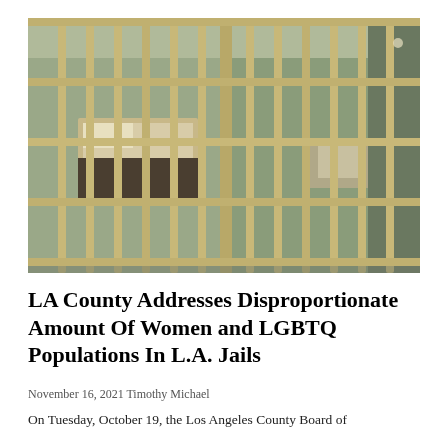[Figure (photo): A photograph of the interior of a jail cell, showing metal bars in a grid pattern with a bed and toilet visible behind the bars. The bars are tan/beige colored and the walls behind are a muted green-gray color.]
LA County Addresses Disproportionate Amount Of Women and LGBTQ Populations In L.A. Jails
November 16, 2021 Timothy Michael
On Tuesday, October 19, the Los Angeles County Board of